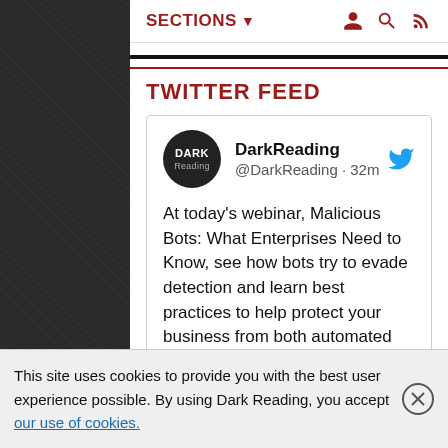SECTIONS ▼
TWITTER FEED
DarkReading @DarkReading · 32m
At today's webinar, Malicious Bots: What Enterprises Need to Know, see how bots try to evade detection and learn best practices to help protect your business from both automated and manual bot attacks. Register now>> webinar.darkreading.com/1328629?keycod...
This site uses cookies to provide you with the best user experience possible. By using Dark Reading, you accept our use of cookies.